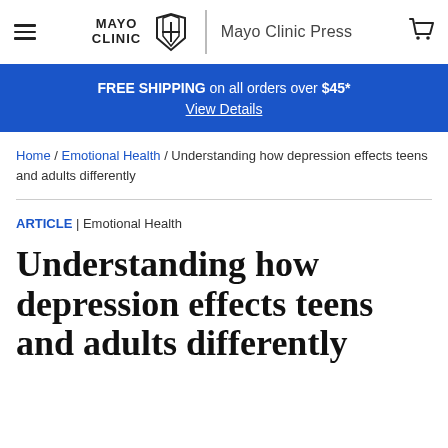MAYO CLINIC | Mayo Clinic Press
FREE SHIPPING on all orders over $45* View Details
Home / Emotional Health / Understanding how depression effects teens and adults differently
ARTICLE | Emotional Health
Understanding how depression effects teens and adults differently